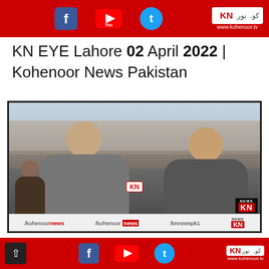Kohenoor News - www.kohenoor.tv - social media icons header banner
KN EYE Lahore 02 April 2022 | Kohenoor News Pakistan
[Figure (screenshot): Video still from Kohenoor News showing two men in conversation outdoors at a busy street/market in Lahore, one holding a KN microphone. The video has a KN News logo overlay in the bottom right and social media handles at the bottom.]
/kohenoornews /kohenoor news /knnewspk1 www.kohenoor.tv - bottom banner with social icons